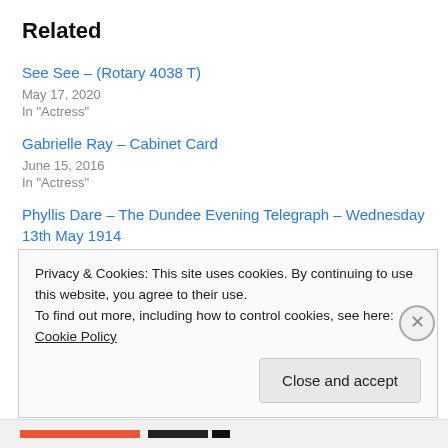Related
See See – (Rotary 4038 T)
May 17, 2020
In "Actress"
Gabrielle Ray – Cabinet Card
June 15, 2016
In "Actress"
Phyllis Dare – The Dundee Evening Telegraph – Wednesday 13th May 1914
May 6, 2022
In "Actress"
Privacy & Cookies: This site uses cookies. By continuing to use this website, you agree to their use.
To find out more, including how to control cookies, see here: Cookie Policy